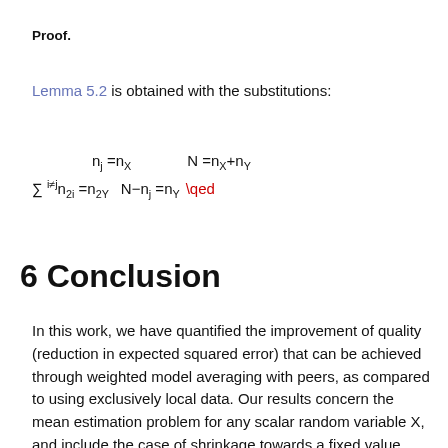Proof.
Lemma 5.2 is obtained with the substitutions:
6 Conclusion
In this work, we have quantified the improvement of quality (reduction in expected squared error) that can be achieved through weighted model averaging with peers, as compared to using exclusively local data. Our results concern the mean estimation problem for any scalar random variable X, and include the case of shrinkage towards a fixed value. While we limit our analysis to averaging between two models  ¯X and  ¯Y, our results apply to federated learning by letting a_X denote the union